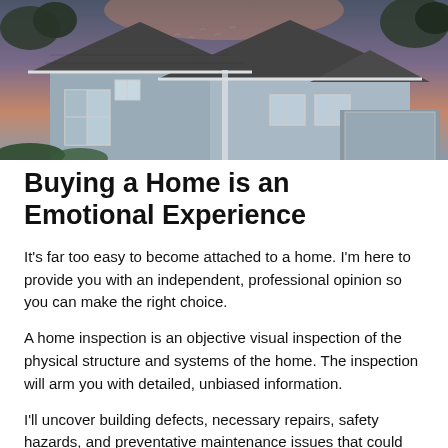[Figure (photo): Exterior photograph of a two-story residential house at dusk/dawn, with grey siding, white trim, multiple gabled roof peaks, and trees in the background against a pink-orange sky.]
Buying a Home is an Emotional Experience
It's far too easy to become attached to a home. I'm here to provide you with an independent, professional opinion so you can make the right choice.
A home inspection is an objective visual inspection of the physical structure and systems of the home. The inspection will arm you with detailed, unbiased information.
I'll uncover building defects, necessary repairs, safety hazards, and preventative maintenance issues that could cost you a lot of money down the road. I'll also help you understand which problems are major, and which problems can be corrected